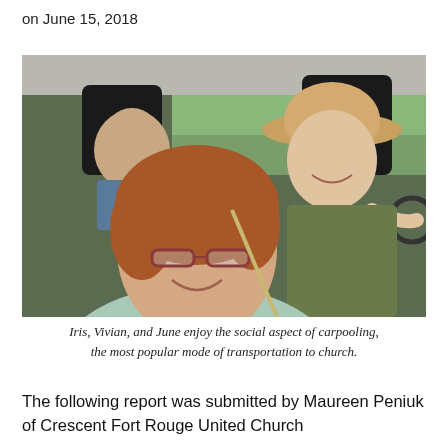on June 15, 2018
[Figure (photo): Three elderly people inside a car. A woman with short reddish-brown hair and glasses sits in the passenger seat in the foreground, smiling. A woman wearing a tan hat sits in the driver's seat smiling. An older man is visible in the back seat. The photo is taken from outside/inside the vehicle.]
Iris, Vivian, and June enjoy the social aspect of carpooling, the most popular mode of transportation to church.
The following report was submitted by Maureen Peniuk of Crescent Fort Rouge United Church